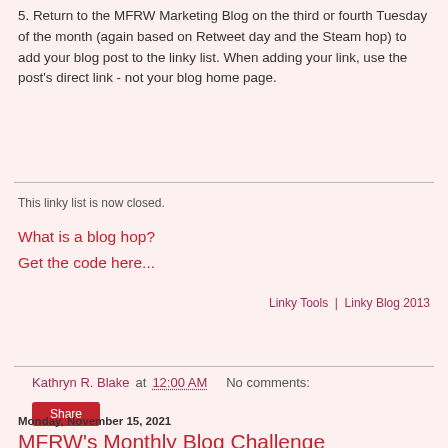5. Return to the MFRW Marketing Blog on the third or fourth Tuesday of the month (again based on Retweet day and the Steam hop) to add your blog post to the linky list. When adding your link, use the post's direct link - not your blog home page.
This linky list is now closed.
What is a blog hop?
Get the code here...
Linky Tools  |  Linky Blog 2013
Kathryn R. Blake at 12:00 AM   No comments:
Share
Monday, November 15, 2021
MFRW's Monthly Blog Challenge Participants for November